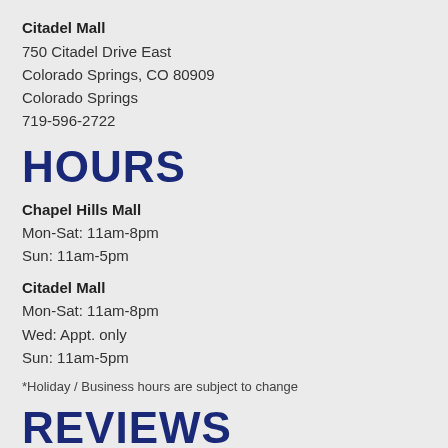Citadel Mall
750 Citadel Drive East
Colorado Springs, CO 80909
Colorado Springs
719-596-2722
HOURS
Chapel Hills Mall
Mon-Sat: 11am-8pm
Sun: 11am-5pm
Citadel Mall
Mon-Sat: 11am-8pm
Wed: Appt. only
Sun: 11am-5pm
*Holiday / Business hours are subject to change
REVIEWS